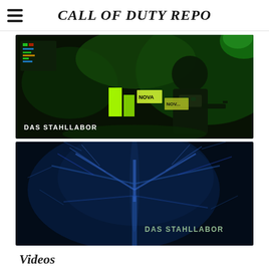CALL OF DUTY REPO
[Figure (screenshot): Green-tinted dark scene from Call of Duty showing a soldier with equipment and screens, with 'DAS STAHLLABOR' text overlay and yellow/green game UI elements]
[Figure (screenshot): Dark blue-tinted scene showing glowing organic/tree-like structures with 'DAS STAHLLABOR' text overlay in bottom right]
Videos